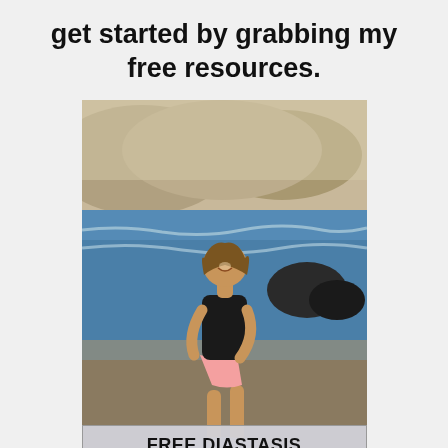get started by grabbing my free resources.
[Figure (photo): A smiling woman in a black crop top and pink shorts walking on a beach near the water, with rocky coastline and hills in the background. A banner at the bottom reads FREE DIASTASIS.]
FREE DIASTASIS